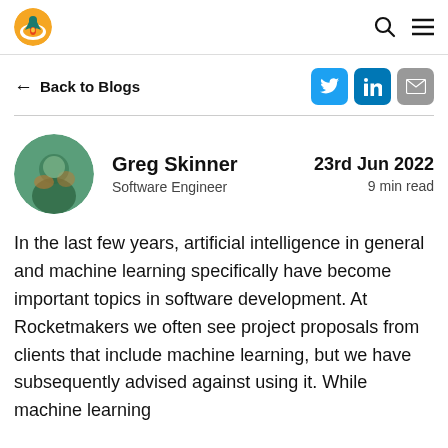Rocketmakers blog navigation header with logo, search, and menu icons
← Back to Blogs
[Figure (other): Social share buttons: Twitter (blue bird), LinkedIn (blue in), Email (grey envelope)]
[Figure (photo): Circular profile photo of Greg Skinner]
Greg Skinner
Software Engineer
23rd Jun 2022
9 min read
In the last few years, artificial intelligence in general and machine learning specifically have become important topics in software development. At Rocketmakers we often see project proposals from clients that include machine learning, but we have subsequently advised against using it. While machine learning